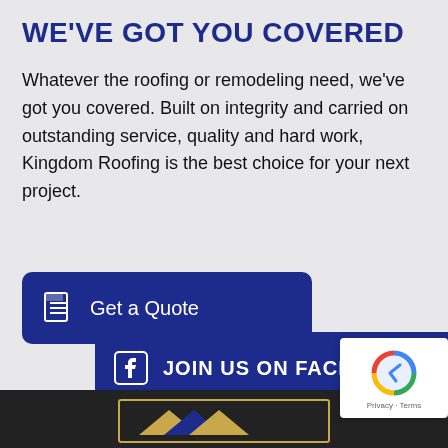WE'VE GOT YOU COVERED
Whatever the roofing or remodeling need, we've got you covered. Built on integrity and carried on outstanding service, quality and hard work, Kingdom Roofing is the best choice for your next project.
[Figure (screenshot): Dark blue button with document icon and text 'Get a Quote']
[Figure (screenshot): Dark blue button with Facebook icon and text 'JOIN US ON FACEBOOK' partially visible, with reCAPTCHA badge overlapping on the right]
[Figure (screenshot): Dark footer section with Kingdom Roofing logo partially visible — gold/navy roof graphic]